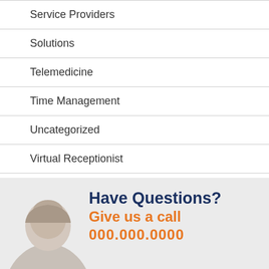Service Providers
Solutions
Telemedicine
Time Management
Uncategorized
Virtual Receptionist
[Figure (illustration): Accessibility icon (wheelchair symbol) on a blue square background]
[Figure (photo): Partial image of a person's head/face in the lower left, used as background for CTA section]
Have Questions? Give us a call